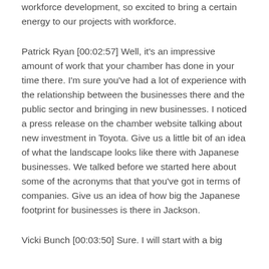workforce development, so excited to bring a certain energy to our projects with workforce.
Patrick Ryan [00:02:57] Well, it's an impressive amount of work that your chamber has done in your time there. I'm sure you've had a lot of experience with the relationship between the businesses there and the public sector and bringing in new businesses. I noticed a press release on the chamber website talking about new investment in Toyota. Give us a little bit of an idea of what the landscape looks like there with Japanese businesses. We talked before we started here about some of the acronyms that that you've got in terms of companies. Give us an idea of how big the Japanese footprint for businesses is there in Jackson.
Vicki Bunch [00:03:50] Sure. I will start with a big...